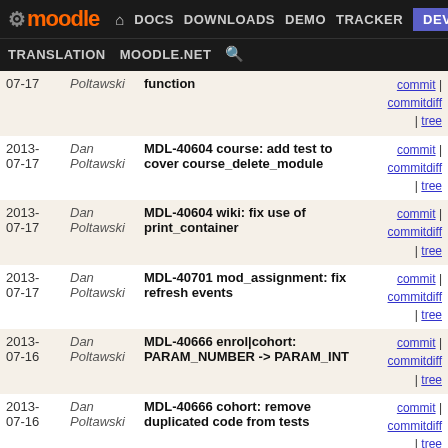Moodle navigation: DOCS DOWNLOADS DEMO TRACKER DEV TRANSLATION MOODLE.NET
| Date | Author | Commit Message | Links |
| --- | --- | --- | --- |
| 2013-07-17 | Dan Poltawski | function | commit | commitdiff | tree |
| 2013-07-17 | Dan Poltawski | MDL-40604 course: add test to cover course_delete_module | commit | commitdiff | tree |
| 2013-07-17 | Dan Poltawski | MDL-40604 wiki: fix use of print_container | commit | commitdiff | tree |
| 2013-07-17 | Dan Poltawski | MDL-40701 mod_assignment: fix refresh events | commit | commitdiff | tree |
| 2013-07-16 | Dan Poltawski | MDL-40666 enrol|cohort: PARAM_NUMBER -> PARAM_INT | commit | commitdiff | tree |
| 2013-07-16 | Dan Poltawski | MDL-40666 cohort: remove duplicated code from tests | commit | commitdiff | tree |
| 2013-07-16 | Dan Poltawski | MDL-40680 store_memcached: fix serialiser options | commit | commitdiff | tree |
| 2013-07-15 | Dan Poltawski | MDL-30740 skydrive: improve repo metadata | commit | commitdiff | tree |
| 2013-07-15 | Dan Poltawski | MDL-30740 skydrive: convert muc to defined cache | commit | commitdiff | tree |
| 2013-07-15 | Dan Poltawski | MDL-30740 Add repository_skydrive to standard plugins | commit | commitdiff | tree |
| 2013-07- | Dan | MDL-30740 skydrive: bump version for | commit |